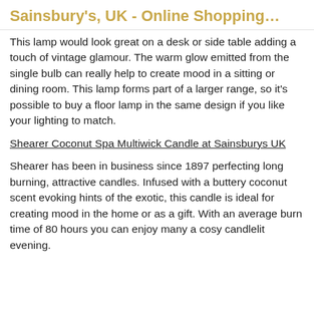Sainsbury's, UK - Online Shopping…
This lamp would look great on a desk or side table adding a touch of vintage glamour. The warm glow emitted from the single bulb can really help to create mood in a sitting or dining room. This lamp forms part of a larger range, so it's possible to buy a floor lamp in the same design if you like your lighting to match.
Shearer Coconut Spa Multiwick Candle at Sainsburys UK
Shearer has been in business since 1897 perfecting long burning, attractive candles. Infused with a buttery coconut scent evoking hints of the exotic, this candle is ideal for creating mood in the home or as a gift. With an average burn time of 80 hours you can enjoy many a cosy candlelit evening.